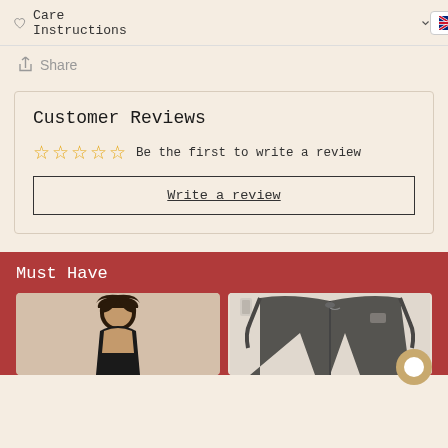Care Instructions
English / EUR (€)
Share
Customer Reviews
Be the first to write a review
Write a review
Must Have